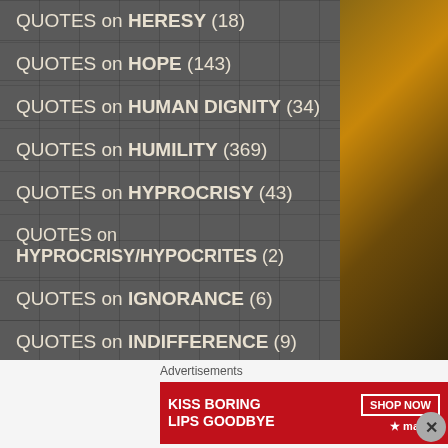QUOTES on HERESY (18)
QUOTES on HOPE (143)
QUOTES on HUMAN DIGNITY (34)
QUOTES on HUMILITY (369)
QUOTES on HYPROCRISY (43)
QUOTES on HYPROCRISY/HYPOCRITES (2)
QUOTES on IGNORANCE (6)
QUOTES on INDIFFERENCE (9)
QUOTES on INNOCENCE (2)
QUOTES on JEALOUSY (6)
QUOTES on JOY (109)
Advertisements
[Figure (photo): Macy's advertisement: KISS BORING LIPS GOODBYE with SHOP NOW button and Macy's star logo]